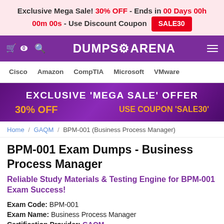Exclusive Mega Sale! 30% OFF - Ends in 00 Days 00h 00m 00s - Use Discount Coupon SALE30
[Figure (logo): DumpsArena website navigation bar with cart icon, search icon, logo, and hamburger menu on purple background]
Cisco  Amazon  CompTIA  Microsoft  VMware
[Figure (infographic): Promotional banner: EXCLUSIVE 'MEGA SALE' OFFER 30% OFF USE COUPON 'SALE30' on purple gradient background]
Home / GAQM / BPM-001 (Business Process Manager)
BPM-001 Exam Dumps - Business Process Manager
Reliable Study Materials & Testing Engine for BPM-001 Exam Success!
Exam Code: BPM-001
Exam Name: Business Process Manager
Certification Provider: GAQM